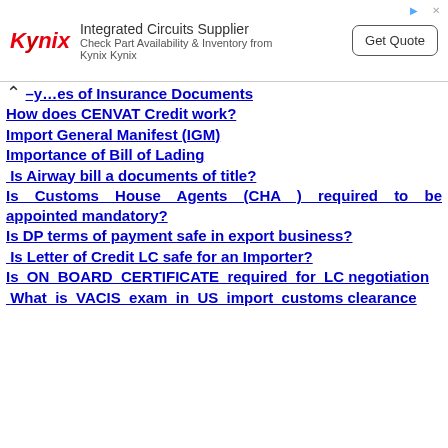[Figure (other): Kynix Integrated Circuits Supplier advertisement banner with logo, text and Get Quote button]
Types of Insurance Documents
How does CENVAT Credit work?
Import General Manifest (IGM)
Importance of Bill of Lading
Is Airway bill a documents of title?
Is Customs House Agents (CHA ) required to be appointed mandatory?
Is DP terms of payment safe in export business?
Is Letter of Credit LC safe for an Importer?
Is ON BOARD CERTIFICATE required for LC negotiation
What is VACIS exam in US import customs clearance